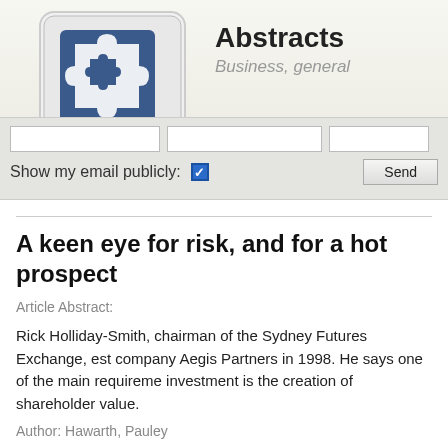Abstracts · Business, general
Abstracts » Business, general
A keen eye for risk, and for a hot prospect
Article Abstract:
Rick Holliday-Smith, chairman of the Sydney Futures Exchange, est company Aegis Partners in 1998. He says one of the main requireme investment is the creation of shareholder value.
Author: Hawarth, Pauley